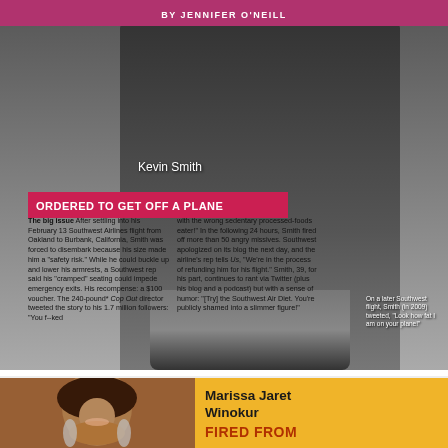BY JENNIFER O'NEILL
[Figure (photo): Kevin Smith photographed from the waist down showing jeans and sneakers at an airport or transit area]
Kevin Smith
ORDERED TO GET OFF A PLANE
The big issue After settling into his February 13 Southwest Airlines flight from Oakland to Burbank, California, Smith was forced to disembark because his size made him a "safety risk." While he could buckle up and lower his armrests, a Southwest rep said his "cramped" seating could impede emergency exits. His recompense: a $100 voucher. The 240-pound* Cop Out director tweeted the story to his 1.7 million followers: "You f--ked
with the wrong sedentary processed-foods eater!" In the following 24 hours, Smith fired off more than 50 angry missives. Southwest apologized on its blog the next day, and the airline's rep tells Us, "We're in the process of refunding him for his flight." Smith, 39, for his part, continues to rant via Twitter (plus his blog and a podcast) but with a sense of humor: "[Try] the Southwest Air Diet. You're publicly shamed into a slimmer figure!"
On a later Southwest flight, Smith (in 2009) tweeted, "Look how fat I am on your plane!"
[Figure (photo): Marissa Jaret Winokur smiling woman with curly hair and hoop earrings]
Marissa Jaret Winokur
FIRED FROM